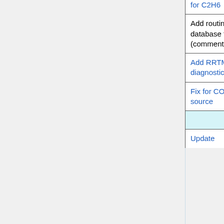| Feature | Submitted by | Type |
| --- | --- | --- |
| for C2H6 | (FSU) |  |
| Add routine to save the GC species database to JSON format (commented out) | Bob Yantosca (GCST) | Structural |
| Add RRTMG fluxes to netCDF diagnostics | Bob Yantosca (GCST) | Structural |
| Fix for CO2 simulation chemical source | Beata Bukosa (U. Wollongong) | Bug fix |
| Features affecting GCHP only |  |  |
| Update | GCST | Bug fix |